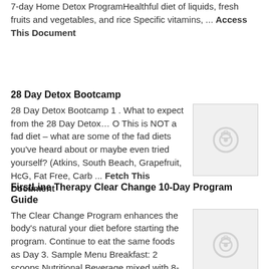7-day Home Detox ProgramHealthful diet of liquids, fresh fruits and vegetables, and rice Specific vitamins, ... Access This Document
28 Day Detox Bootcamp
28 Day Detox Bootcamp 1 . What to expect from the 28 Day Detox… O This is NOT a fad diet – what are some of the fad diets you've heard about or maybe even tried yourself? (Atkins, South Beach, Grapefruit, HcG, Fat Free, Carb ... Fetch This Document
[Figure (photo): Placeholder thumbnail image with camera icon]
FirstLine Therapy Clear Change 10-Day Program Guide
The Clear Change Program enhances the body's natural your diet before starting the program. Continue to eat the same foods as Day 3. Sample Menu Breakfast: 2 scoops Nutritional Beverage mixed with 8-10 ounces water or ... Return Doc
[Figure (photo): Placeholder thumbnail image with camera icon]